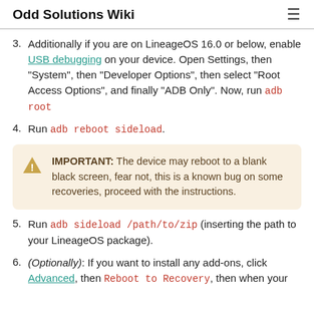Odd Solutions Wiki
3. Additionally if you are on LineageOS 16.0 or below, enable USB debugging on your device. Open Settings, then "System", then "Developer Options", then select "Root Access Options", and finally "ADB Only". Now, run adb root
4. Run adb reboot sideload.
IMPORTANT: The device may reboot to a blank black screen, fear not, this is a known bug on some recoveries, proceed with the instructions.
5. Run adb sideload /path/to/zip (inserting the path to your LineageOS package).
6. (Optionally): If you want to install any add-ons, click Advanced, then Reboot to Recovery, then when your